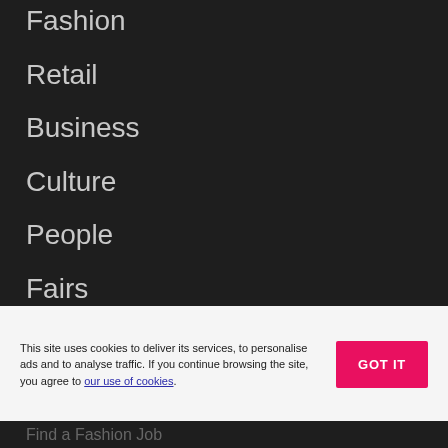Fashion
Retail
Business
Culture
People
Fairs
Education
Executive
This site uses cookies to deliver its services, to personalise ads and to analyse traffic. If you continue browsing the site, you agree to our use of cookies.
GOT IT
Find a Fashion Job